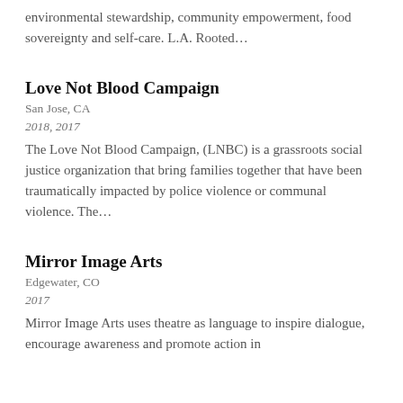environmental stewardship, community empowerment, food sovereignty and self-care. L.A. Rooted…
Love Not Blood Campaign
San Jose, CA
2018, 2017
The Love Not Blood Campaign, (LNBC) is a grassroots social justice organization that bring families together that have been traumatically impacted by police violence or communal violence. The…
Mirror Image Arts
Edgewater, CO
2017
Mirror Image Arts uses theatre as language to inspire dialogue, encourage awareness and promote action in